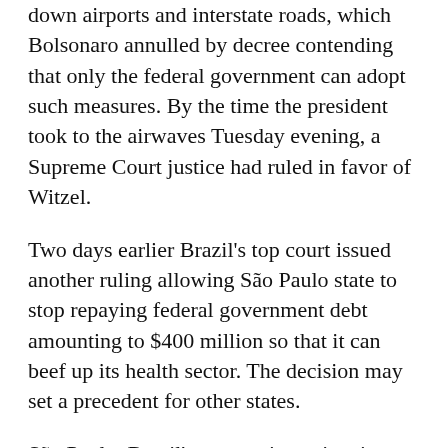down airports and interstate roads, which Bolsonaro annulled by decree contending that only the federal government can adopt such measures. By the time the president took to the airwaves Tuesday evening, a Supreme Court justice had ruled in favor of Witzel.
Two days earlier Brazil's top court issued another ruling allowing São Paulo state to stop repaying federal government debt amounting to $400 million so that it can beef up its health sector. The decision may set a precedent for other states.
São Paulo, Brazil's economic engine, is home to the majority of the coronavirus cases. It has been under partial lockdown since Tuesday, and schools, universities and non-essential businesses have mostly been closed for more than 10 days. Rio state has adopted similar measures, including closing its beaches.